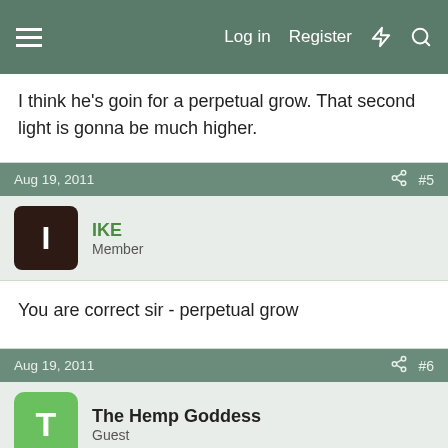Log in  Register
I think he's goin for a perpetual grow. That second light is gonna be much higher.
Aug 19, 2011  #5
IKE
Member
You are correct sir - perpetual grow
Aug 19, 2011  #6
The Hemp Goddess
Guest
IMO, it is better and makes ventilation easier if you keep the lights at the same height and raise and lower the pots with milkcrates, other pots, buckets, etc. I think that you will find that not all the plants are going